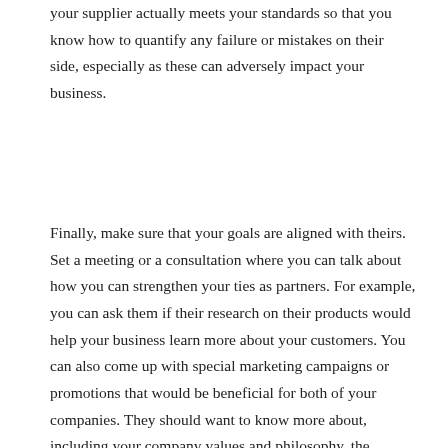your supplier actually meets your standards so that you know how to quantify any failure or mistakes on their side, especially as these can adversely impact your business.
Finally, make sure that your goals are aligned with theirs. Set a meeting or a consultation where you can talk about how you can strengthen your ties as partners. For example, you can ask them if their research on their products would help your business learn more about your customers. You can also come up with special marketing campaigns or promotions that would be beneficial for both of your companies. They should want to know more about, including your company values and philosophy, the company culture, the working environment for your employees. These things would help both of you find more ways to strengthen your